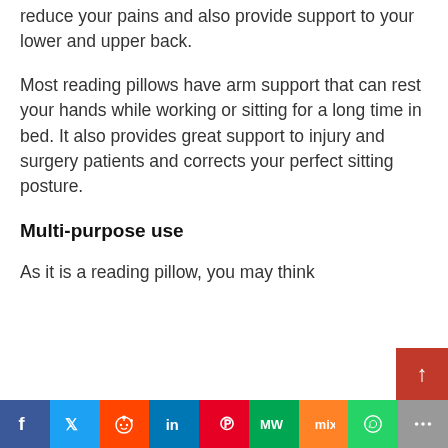reduce your pains and also provide support to your lower and upper back.
Most reading pillows have arm support that can rest your hands while working or sitting for a long time in bed. It also provides great support to injury and surgery patients and corrects your perfect sitting posture.
Multi-purpose use
As it is a reading pillow, you may think
[Figure (infographic): Social sharing bar at the bottom with icons for Facebook, Twitter, Reddit, LinkedIn, Pinterest, MW, Mix, WhatsApp, and More. A red scroll-to-top button overlays on the right.]